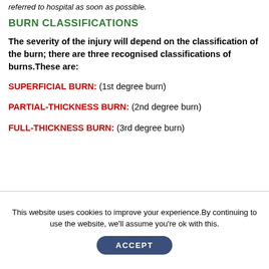referred to hospital as soon as possible.
BURN CLASSIFICATIONS
The severity of the injury will depend on the classification of the burn; there are three recognised classifications of burns. These are:
SUPERFICIAL BURN: (1st degree burn)
PARTIAL-THICKNESS BURN: (2nd degree burn)
FULL-THICKNESS BURN: (3rd degree burn)
This website uses cookies to improve your experience. By continuing to use the website, we'll assume you're ok with this.
ACCEPT